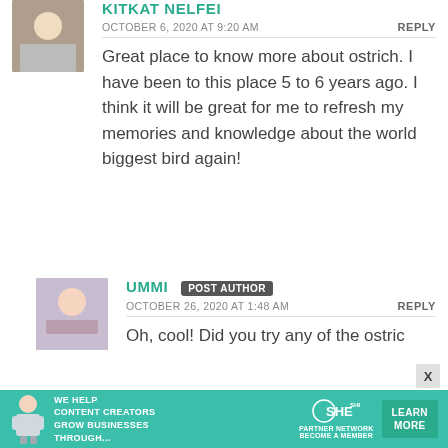KITKAT NELFEI
OCTOBER 6, 2020 AT 9:20 AM
REPLY
Great place to know more about ostrich. I have been to this place 5 to 6 years ago. I think it will be great for me to refresh my memories and knowledge about the world biggest bird again!
UMMI POST AUTHOR
OCTOBER 26, 2020 AT 1:48 AM
REPLY
Oh, cool! Did you try any of the ostric
[Figure (infographic): SHE Media partner network advertisement banner with text WE HELP CONTENT CREATORS GROW BUSINESSES THROUGH..., SHE logo, PARTNER NETWORK BECOME A MEMBER, and LEARN MORE button]